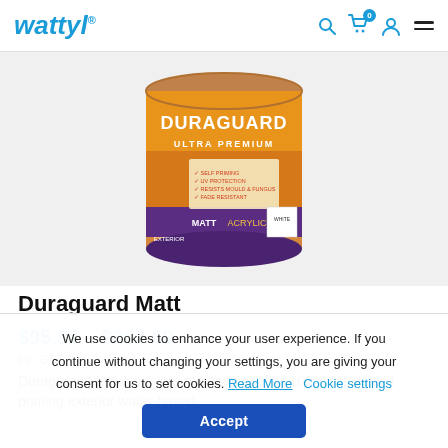wattyl® [search] [cart 0] [account] [menu]
[Figure (photo): Wattyl Duraguard Ultra Premium Matt Acrylic exterior paint can in white, with orange/gold label showing product features: self priming, UV protection, resists mould & fungus, fade resistant]
Duraguard Matt
$95.87 – $267.69
inc. GST
Duraguard Matt is an ultra premium quality, 100% acrylic self priming exterior water-based
We use cookies to enhance your user experience. If you continue without changing your settings, you are giving your consent for us to set cookies. Read More   Cookie settings
Accept